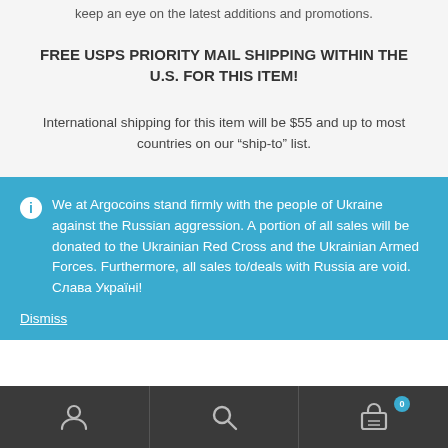keep an eye on the latest additions and promotions.
FREE USPS PRIORITY MAIL SHIPPING WITHIN THE U.S. FOR THIS ITEM!
International shipping for this item will be $55 and up to most countries on our “ship-to” list.
We at Argocoins stand firmly with the people of Ukraine against the Russian aggression. A portion of all sales will be donated to the Ukrainian Red Cross and the Ukrainian Armed Forces. Furthermore, all sales to/deals with Russia are void. Слава Україні!
Dismiss